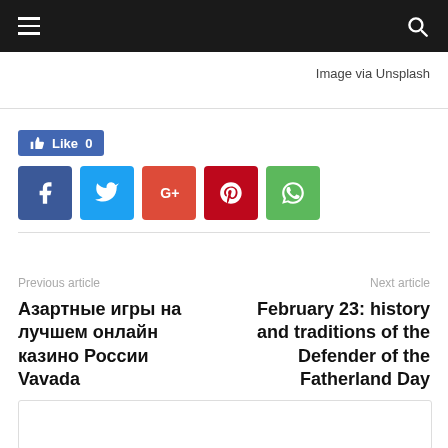Navigation bar with hamburger menu and search icon
Image via Unsplash
[Figure (infographic): Social share buttons: Facebook Like button showing 0 likes, and share buttons for Facebook, Twitter, Google+, Pinterest, WhatsApp]
Previous article
Азартные игры на лучшем онлайн казино России Vavada
Next article
February 23: history and traditions of the Defender of the Fatherland Day